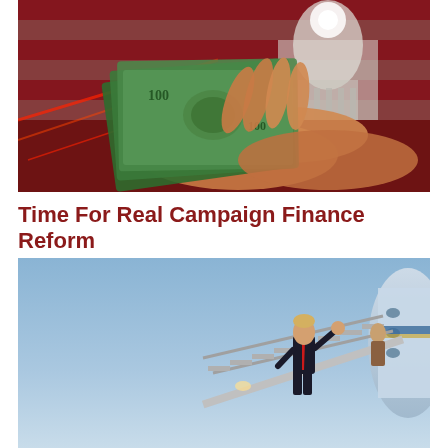[Figure (photo): Composite image of hands holding fanned US hundred dollar bills with an American flag and US Capitol building in the background, with red light streaks]
Time For Real Campaign Finance Reform
[Figure (photo): A man in a dark suit with a red tie waving from the top of Air Force One airplane stairs against a blue sky background]